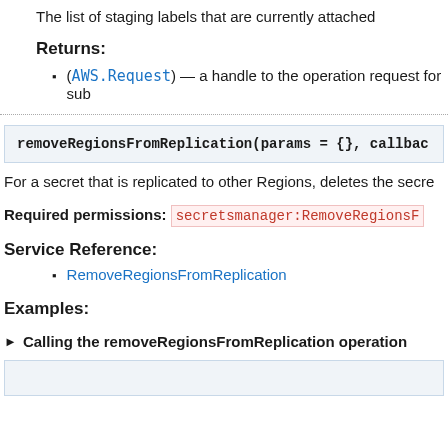The list of staging labels that are currently attached
Returns:
(AWS.Request) — a handle to the operation request for sub
[Figure (screenshot): Code block showing: removeRegionsFromReplication(params = {}, callbac]
For a secret that is replicated to other Regions, deletes the secre
Required permissions: secretsmanager:RemoveRegionsF
Service Reference:
RemoveRegionsFromReplication
Examples:
► Calling the removeRegionsFromReplication operation
[Figure (screenshot): Bottom code box, empty/partial content area]